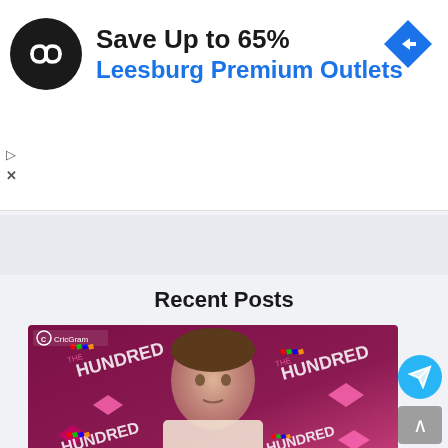[Figure (screenshot): Advertisement banner: black circular logo with infinity-like icon, text 'Save Up to 65%' in bold dark and 'Leesburg Premium Outlets' in blue, blue diamond navigation icon top right, play and X controls on left side]
[Figure (screenshot): Collapse/minimize button row with upward caret chevron and partial text 'al 1 1' visible to the right]
Recent Posts
[Figure (photo): CricGram branded photo of a young male cricketer against a dark magenta/maroon background with 'The Hundred' tournament branding logos repeated throughout]